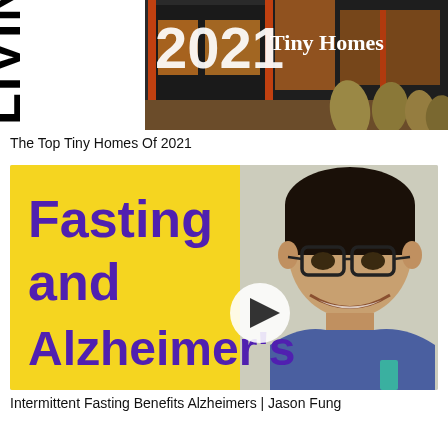[Figure (photo): Magazine cover showing 'LIVING 2021 Tiny Homes' with an exterior photo of a modern tiny home with wood facade, plants, and warm interior lighting visible through large windows.]
The Top Tiny Homes Of 2021
[Figure (screenshot): Video thumbnail with yellow background on left half showing bold purple text 'Fasting and Alzheimer's' with a white play button circle in the center, and on the right half a photo of a smiling Asian man wearing glasses and a blue t-shirt — Jason Fung.]
Intermittent Fasting Benefits Alzheimers | Jason Fung